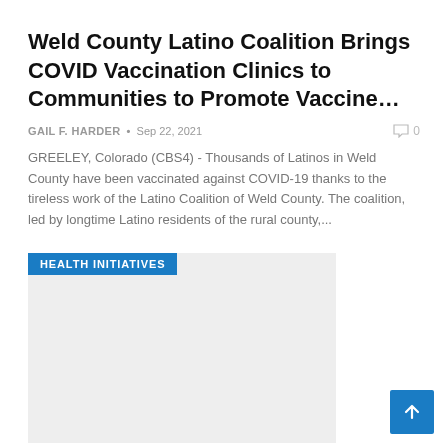Weld County Latino Coalition Brings COVID Vaccination Clinics to Communities to Promote Vaccine…
GAIL F. HARDER • Sep 22, 2021   0
GREELEY, Colorado (CBS4) - Thousands of Latinos in Weld County have been vaccinated against COVID-19 thanks to the tireless work of the Latino Coalition of Weld County. The coalition, led by longtime Latino residents of the rural county,...
[Figure (photo): Grey placeholder image with 'HEALTH INITIATIVES' blue badge in top-left corner]
A US-EU program to defeat the global pandemic Vaccinate the world, save lives now and rebuild better…